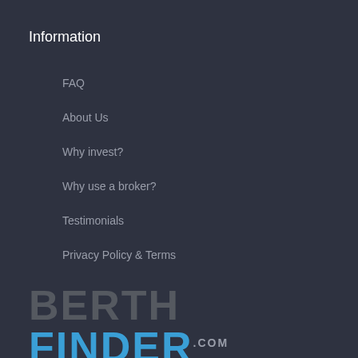Information
FAQ
About Us
Why invest?
Why use a broker?
Testimonials
Privacy Policy & Terms
[Figure (logo): BerthFinder.com logo with BERTH in dark gray and FINDER in blue]
Site Navigation
Search Berths